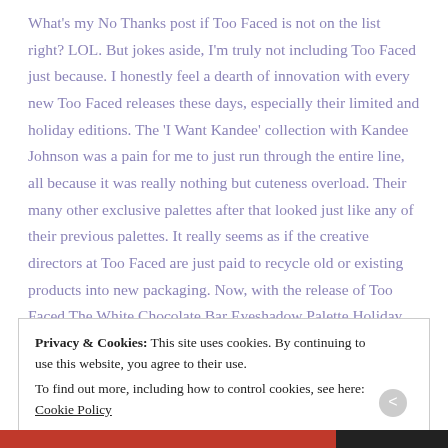What's my No Thanks post if Too Faced is not on the list right? LOL. But jokes aside, I'm truly not including Too Faced just because. I honestly feel a dearth of innovation with every new Too Faced releases these days, especially their limited and holiday editions. The 'I Want Kandee' collection with Kandee Johnson was a pain for me to just run through the entire line, all because it was really nothing but cuteness overload. Their many other exclusive palettes after that looked just like any of their previous palettes. It really seems as if the creative directors at Too Faced are just paid to recycle old or existing products into new packaging. Now, with the release of Too Faced The White Chocolate Bar Eyeshadow Palette Holiday 2017, I'm not wrong
Privacy & Cookies: This site uses cookies. By continuing to use this website, you agree to their use. To find out more, including how to control cookies, see here: Cookie Policy
Close and accept